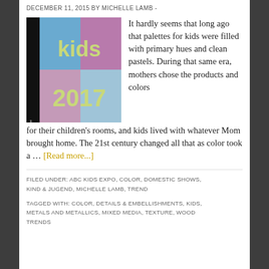DECEMBER 11, 2015 BY MICHELLE LAMB -
[Figure (illustration): Book cover for 'thetrendcurvecolors kids 2017' with a grid of colored squares in blue, purple, and mauve tones with yellow-green text reading 'kids 2017' and vertical text 'thetrendcurvecolors' on a black spine.]
It hardly seems that long ago that palettes for kids were filled with primary hues and clean pastels. During that same era, mothers chose the products and colors for their children's rooms, and kids lived with whatever Mom brought home. The 21st century changed all that as color took a … [Read more...]
FILED UNDER: ABC KIDS EXPO, COLOR, DOMESTIC SHOWS, KIND & JUGEND, MICHELLE LAMB, TREND
TAGGED WITH: COLOR, DETAILS & EMBELLISHMENTS, KIDS, METALS AND METALLICS, MIXED MEDIA, TEXTURE, WOOD TRENDS